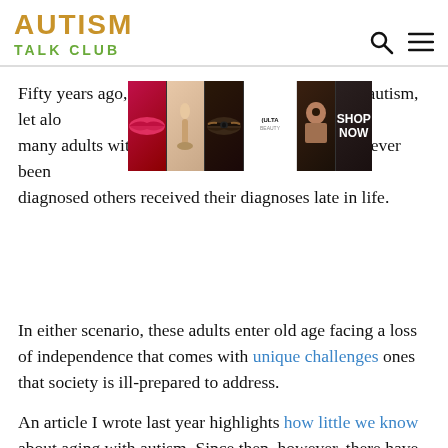AUTISM TALK CLUB
Fifty years ago, few people had heard of the term autism, let alone understood it. Unsurprisingly, many adults with autism over the age of 50 have never been diagnosed others received their diagnoses late in life.
[Figure (photo): Ulta Beauty advertisement banner showing makeup/cosmetics imagery with 'SHOP NOW' text]
In either scenario, these adults enter old age facing a loss of independence that comes with unique challenges ones that society is ill-prepared to address.
An article I wrote last year highlights how little we know about aging with autism. Since then, however, there have been a smattering of studies aimed at better identifying and understanding the growing population of the state of editors 1,2,3.
[Figure (photo): Macy's lipstick advertisement 'Kiss Boring Lips Goodbye' with Shop Now button]